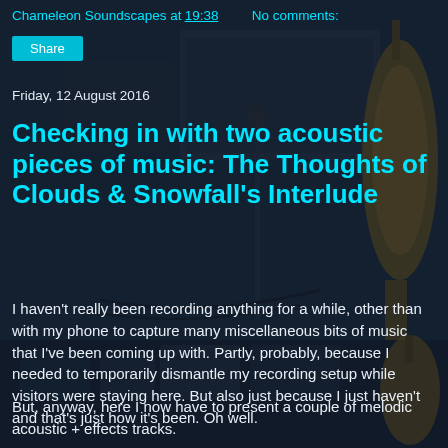[Figure (photo): Music recording studio with guitar, Marshall amplifier, effect pedals on a desk, dark atmospheric background]
Chameleon Soundscapes at 19:38   No comments:
Share
Friday, 12 August 2016
Checking in with two acoustic pieces of music: The Thoughts of Clouds & Snowfall's Interlude
I haven't really been recording anything for a while, other than with my phone to capture many miscellaneous bits of music that I've been coming up with. Partly, probably, because I needed to temporarily dismantle my recording setup while visitors were staying here. But also just because I just haven't and that's just how it's been. Oh well.
But, anyway, here I now have to present a couple of melodic acoustic + effects tracks.